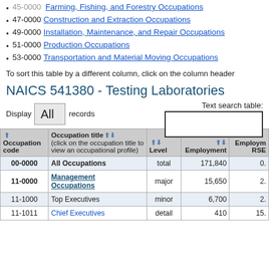45-0000 Farming, Fishing, and Forestry Occupations
47-0000 Construction and Extraction Occupations
49-0000 Installation, Maintenance, and Repair Occupations
51-0000 Production Occupations
53-0000 Transportation and Material Moving Occupations
To sort this table by a different column, click on the column header
NAICS 541380 - Testing Laboratories
Display All records
Text search table:
| Occupation code | Occupation title (click on the occupation title to view an occupational profile) | Level | Employment | Employment RSE |
| --- | --- | --- | --- | --- |
| 00-0000 | All Occupations | total | 171,840 | 0. |
| 11-0000 | Management Occupations | major | 15,650 | 2. |
| 11-1000 | Top Executives | minor | 6,700 | 2. |
| 11-1011 | Chief Executives | detail | 410 | 15. |